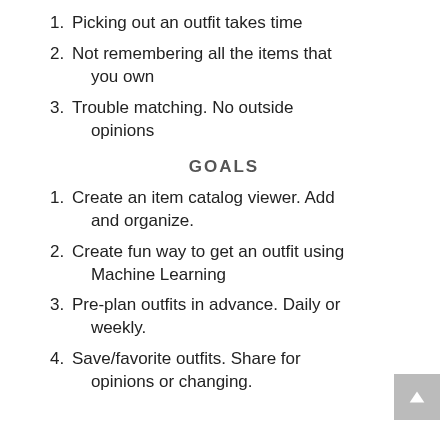1. Picking out an outfit takes time
2. Not remembering all the items that you own
3. Trouble matching. No outside opinions
GOALS
1. Create an item catalog viewer. Add and organize.
2. Create fun way to get an outfit using Machine Learning
3. Pre-plan outfits in advance. Daily or weekly.
4. Save/favorite outfits. Share for opinions or changing.